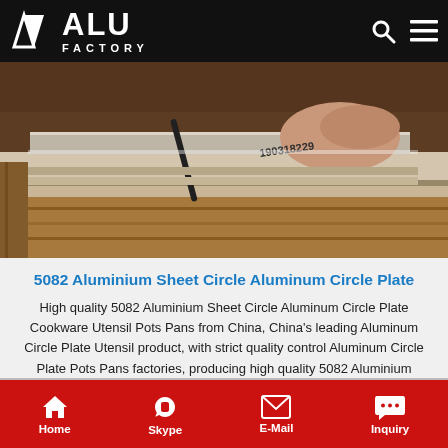ALU FACTORY
[Figure (photo): Close-up photo of aluminum sheets/circles being handled, showing layered metallic material with a label reading 190318229]
5082 Aluminium Sheet Circle Aluminum Circle Plate
High quality 5082 Aluminium Sheet Circle Aluminum Circle Plate Cookware Utensil Pots Pans from China, China's leading Aluminum Circle Plate Utensil product, with strict quality control Aluminum Circle Plate Pots Pans factories, producing high quality 5082 Aluminium Sheet Circle products.
Home  Skype  E-Mail  Inquiry